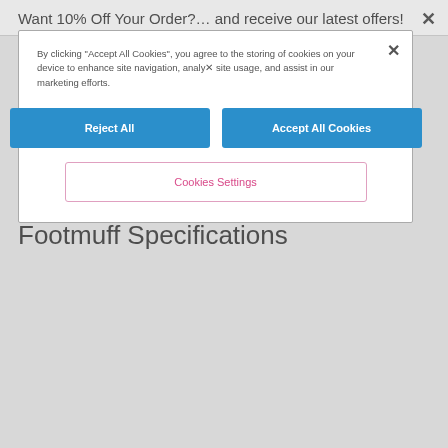Want 10% Off Your Order?… and receive our latest offers!
By clicking "Accept All Cookies", you agree to the storing of cookies on your device to enhance site navigation, analyse site usage, and assist in our marketing efforts.
Reject All
Accept All Cookies
Cookies Settings
up on its hands and knees. Maximum weight of the child:9kg WARNING: Never use this product on a stand
UK & EU Standards: EN 1466:2014
Bowling Style Bag Specifications
Composition: 100% Polyester excluding trims
Care & Maintenance: Wipe clean only
Footmuff Specifications